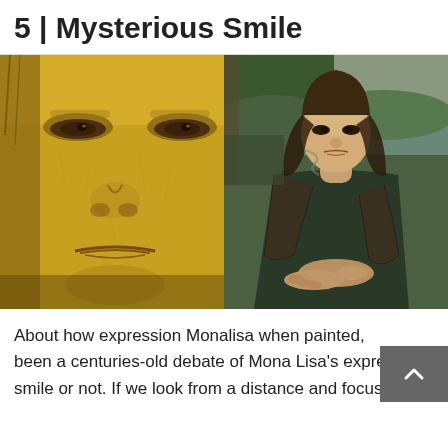5 | Mysterious Smile
[Figure (photo): Two side-by-side images of the Mona Lisa: left panel shows a close-up detail of the face (golden/yellow tones showing eyes, nose, and subtle smile with craquelure), right panel shows the full painting of Mona Lisa seated with landscape background.]
About how expression Monalisa when painted, been a centuries-old debate of Mona Lisa's expression smile or not. If we look from a distance and focus on